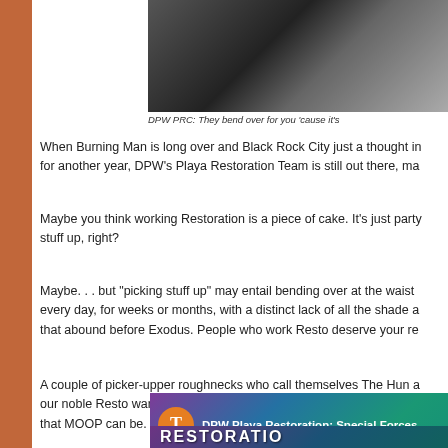[Figure (photo): Black and white photo of a person, partially visible, top portion of page]
DPW PRC: They bend over for you 'cause it’s
When Burning Man is long over and Black Rock City just a thought in
for another year, DPW’s Playa Restoration Team is still out there, ma
Maybe you think working Restoration is a piece of cake. It’s just party
stuff up, right?
Maybe. . . but “picking stuff up” may entail bending over at the waist
every day, for weeks or months, with a distinct lack of all the shade a
that abound before Exodus. People who work Resto deserve your re
A couple of picker-upper roughnecks who call themselves The Hun a
our noble Resto warriors with a spirited video that gives us all a remi
that MOOP can be. Can you say “lower back pain?” I knew that you c
[Figure (screenshot): Video thumbnail for DPW Playa Restoration: Special Forces with orange T icon and colorful star background]